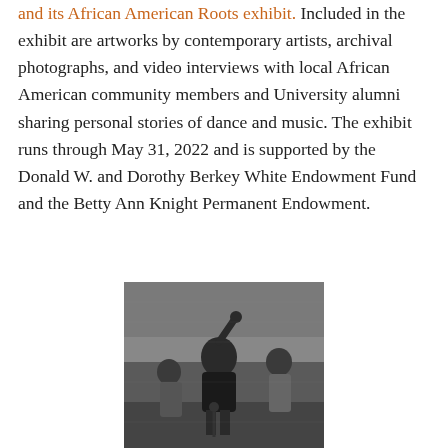and its African American Roots exhibit. Included in the exhibit are artworks by contemporary artists, archival photographs, and video interviews with local African American community members and University alumni sharing personal stories of dance and music. The exhibit runs through May 31, 2022 and is supported by the Donald W. and Dorothy Berkey White Endowment Fund and the Betty Ann Knight Permanent Endowment.
[Figure (photo): Black and white archival photograph showing people at what appears to be a performance or event. A person with one arm raised is prominent in the center, with others visible around them.]